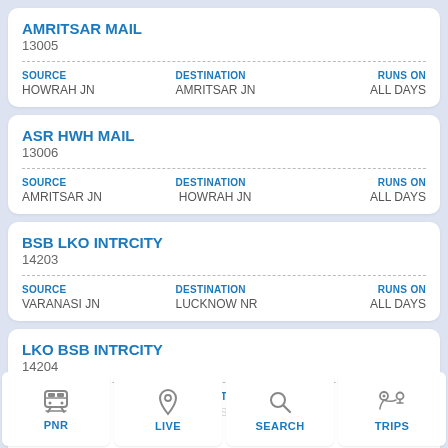AMRITSAR MAIL
13005
| SOURCE | DESTINATION | RUNS ON |
| --- | --- | --- |
| HOWRAH JN | AMRITSAR JN | ALL DAYS |
ASR HWH MAIL
13006
| SOURCE | DESTINATION | RUNS ON |
| --- | --- | --- |
| AMRITSAR JN | HOWRAH JN | ALL DAYS |
BSB LKO INTRCITY
14203
| SOURCE | DESTINATION | RUNS ON |
| --- | --- | --- |
| VARANASI JN | LUCKNOW NR | ALL DAYS |
LKO BSB INTRCITY
14204
| SOURCE | DESTINATION | RUNS ON |
| --- | --- | --- |
| LUCKNOW NR | VARANASI JN | ALL DAYS |
PNR | LIVE | SEARCH | TRIPS